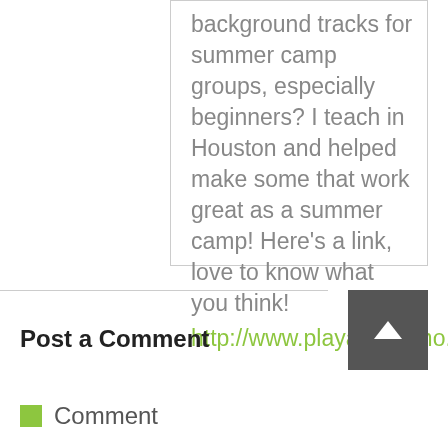background tracks for summer camp groups, especially beginners? I teach in Houston and helped make some that work great as a summer camp! Here's a link, love to know what you think! http://www.playablepiano.com/camp
Post a Comment
Comment